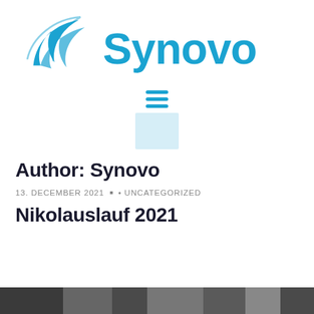[Figure (logo): Synovo company logo with blue swoosh/wave icon on the left and 'Synovo' text in blue on the right]
[Figure (other): Hamburger menu icon with three horizontal blue lines]
[Figure (other): Small light blue placeholder/thumbnail box]
Author: Synovo
13. DECEMBER 2021 · UNCATEGORIZED
Nikolauslauf 2021
[Figure (photo): Partial image at the bottom of the page, appears to show people at an outdoor event]